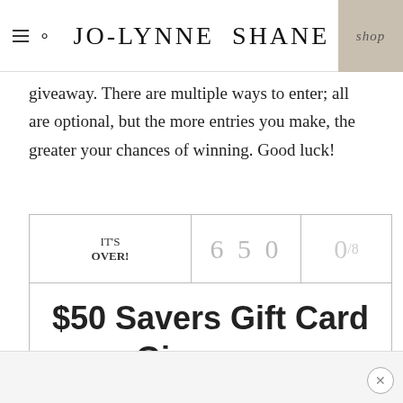JO-LYNNE SHANE | shop
giveaway. There are multiple ways to enter; all are optional, but the more entries you make, the greater your chances of winning. Good luck!
[Figure (screenshot): Giveaway widget showing IT'S OVER! status, 650 entries, 0/8 score, and title '$50 Savers Gift Card Giveaway']